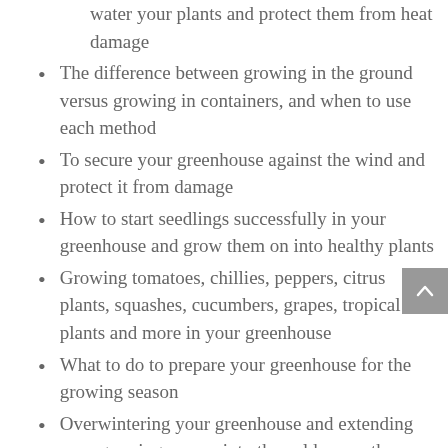water your plants and protect them from heat damage
The difference between growing in the ground versus growing in containers, and when to use each method
To secure your greenhouse against the wind and protect it from damage
How to start seedlings successfully in your greenhouse and grow them on into healthy plants
Growing tomatoes, chillies, peppers, citrus plants, squashes, cucumbers, grapes, tropical plants and more in your greenhouse
What to do to prepare your greenhouse for the growing season
Overwintering your greenhouse and extending your growing season into the colder months
Avoiding the potential problems associated with